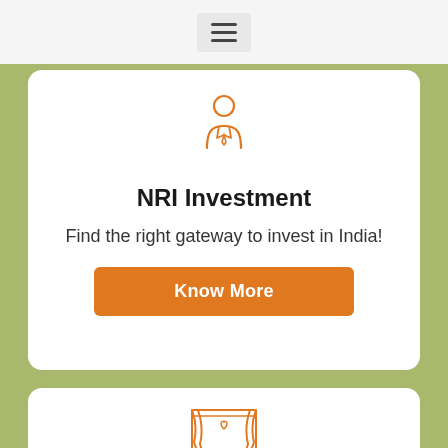[Figure (screenshot): Hamburger menu icon (three horizontal lines) in a light grey rounded rectangle]
[Figure (illustration): Orange outline icon of a person in a suit/tie (businessman)]
NRI Investment
Find the right gateway to invest in India!
Know More
[Figure (illustration): Orange outline icon of a wedding mandap/stage with curtains and a bench]
Child's Marriage Plan